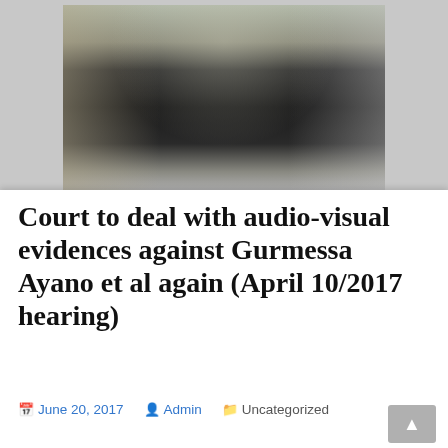[Figure (photo): A person standing outdoors wearing a dark suit, with grass and a light background visible]
Court to deal with audio-visual evidences against Gurmessa Ayano et al again (April 10/2017 hearing)
June 20, 2017   Admin   Uncategorized